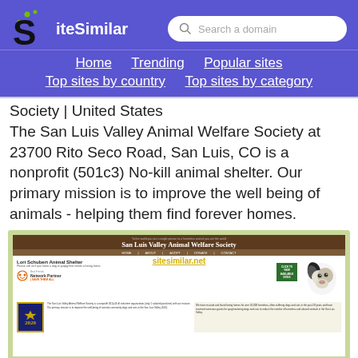[Figure (screenshot): SiteSimilar website header with logo (large S with green dots), search box saying 'Search a domain', and navigation links: Home, Trending, Popular sites, Top sites by country, Top sites by category]
Society | United States
The San Luis Valley Animal Welfare Society at 23700 Rito Seco Road, San Luis, CO is a nonprofit (501c3) No-kill animal shelter. Our primary mission is to improve the well being of animals - helping them find forever homes.
[Figure (screenshot): Screenshot of the San Luis Valley Animal Welfare Society website showing brown header with site title, Lori Schubert Animal Shelter text, Best Friends Network Partner badge, Save Them All tagline, a dog photo, 2020 award badge, and body text about the organization.]